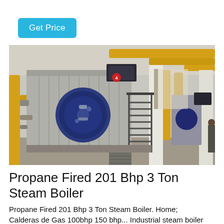Get Price
[Figure (photo): Industrial boiler room showing a large propane-fired steam boiler unit with a circular blue burner/motor assembly on the front, yellow gas pipes running along the ceiling and walls, metal staircases, white structural columns, and multiple boiler units visible in the background. The setting appears to be a factory or industrial plant.]
Propane Fired 201 Bhp 3 Ton Steam Boiler
Propane Fired 201 Bhp 3 Ton Steam Boiler. Home; Calderas de Gas 100bhp 150 bhp... Industrial steam boiler